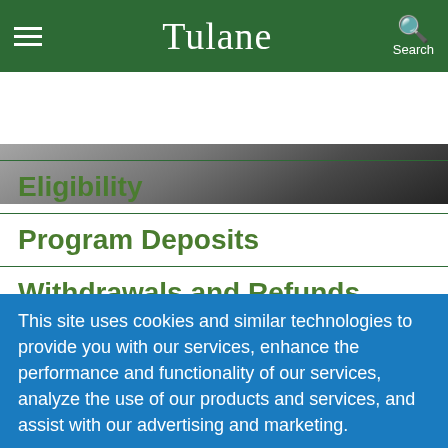Tulane
[Figure (photo): Partial photo strip showing people, cropped at top of page below navigation bar]
Eligibility
Program Deposits
Withdrawals and Refunds
Housing
This site uses cookies and similar technologies to provide you with our services, enhance the performance and functionality of our services, analyze the use of our products and services, and assist with our advertising and marketing.